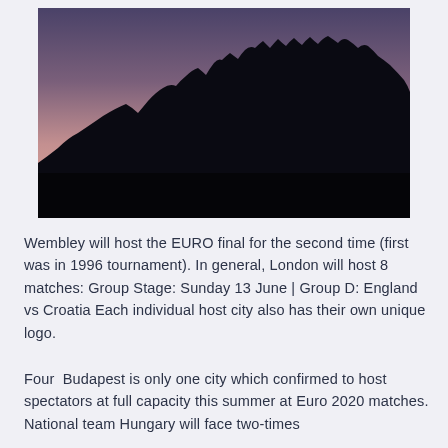[Figure (photo): Mountain silhouette landscape photo at dusk/sunset with purple-pink sky gradient fading to dark black mountain ridgeline at bottom]
Wembley will host the EURO final for the second time (first was in 1996 tournament). In general, London will host 8 matches: Group Stage: Sunday 13 June | Group D: England vs Croatia Each individual host city also has their own unique logo.
Four  Budapest is only one city which confirmed to host spectators at full capacity this summer at Euro 2020 matches. National team Hungary will face two-times